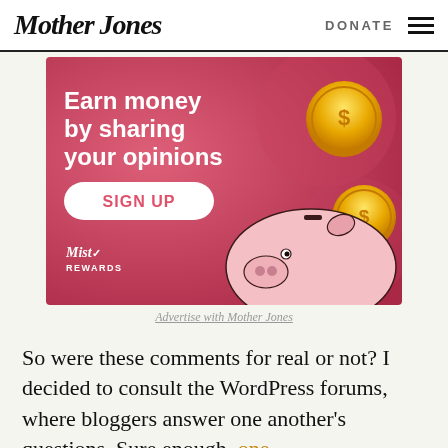Mother Jones | DONATE
[Figure (illustration): Advertisement banner with pink/red background. Text reads 'Earn money by sharing your opinions' with a SIGN UP button and Mist Rewards logo. Gold coins and a piggy bank illustration on the right side.]
Advertise with Mother Jones
So were these comments for real or not? I decided to consult the WordPress forums, where bloggers answer one another's questions. Sure enough, one